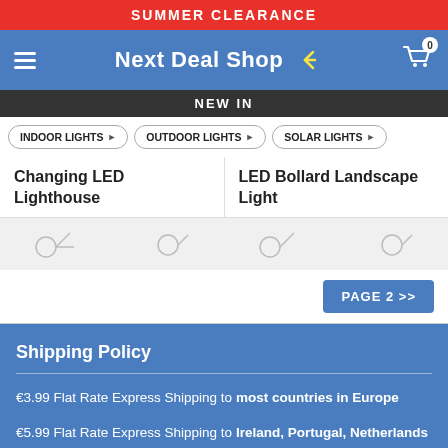SUMMER CLEARANCE
[Figure (logo): Next Deal Shop logo with shopping cart icon and hamburger menu]
NEW IN
INDOOR LIGHTS | OUTDOOR LIGHTS | SOLAR LIGHTS
Changing LED Lighthouse
LED Bollard Landscape Light
[Figure (other): Product thumbnail placeholders]
PAGE 2 >>
Shipping Policy
€3.99 Flat Rate Express Shipping to most countries in Europe
€5.99 Flat Rate Express Shipping to Ireland, Portugal, Netherlands & Belgium
English